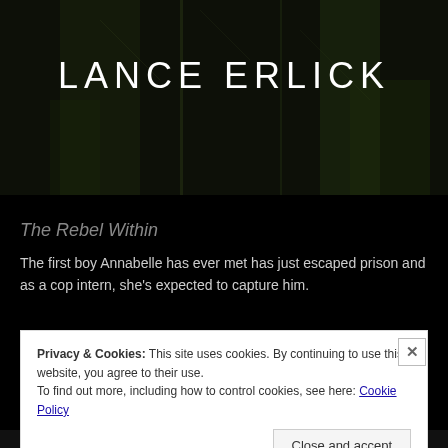[Figure (photo): Dark textured background (book cover art) with shadowy figures and foliage, author name 'LANCE ERLICK' in large white letters centered in upper portion]
The Rebel Within
The first boy Annabelle has ever met has just escaped prison and as a cop intern, she's expected to capture him.
Privacy & Cookies: This site uses cookies. By continuing to use this website, you agree to their use.
To find out more, including how to control cookies, see here: Cookie Policy
Close and accept